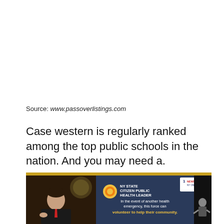Source: www.passoverlistings.com
Case western is regularly ranked among the top public schools in the nation. And you may need a.
[Figure (screenshot): Screenshot of a NY State Citizen Public Health Leader public health announcement video featuring a speaker at a podium (likely Governor Cuomo) on the left, and overlay text on a dark blue background: 'NY STATE CITIZEN PUBLIC HEALTH LEADER — In the event of another health emergency, this force can volunteer to help their community.' A NY1 logo appears in the top right corner. A sign language interpreter is visible on the far right.]